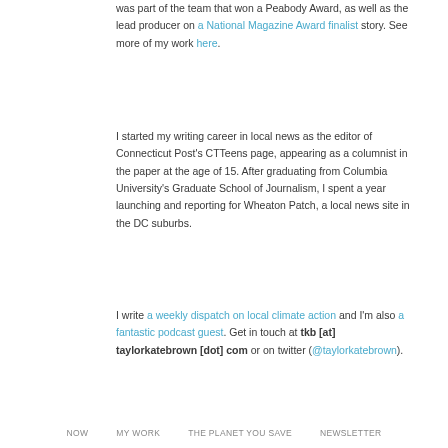was part of the team that won a Peabody Award, as well as the lead producer on a National Magazine Award finalist story. See more of my work here.
I started my writing career in local news as the editor of Connecticut Post's CTTeens page, appearing as a columnist in the paper at the age of 15. After graduating from Columbia University's Graduate School of Journalism, I spent a year launching and reporting for Wheaton Patch, a local news site in the DC suburbs.
I write a weekly dispatch on local climate action and I'm also a fantastic podcast guest. Get in touch at tkb [at] taylorkatebrown [dot] com or on twitter (@taylorkatebrown).
NOW   MY WORK   THE PLANET YOU SAVE   NEWSLETTER